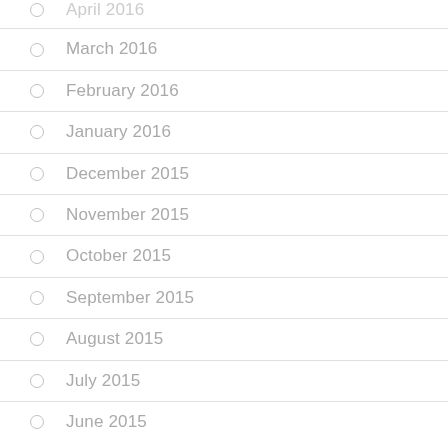April 2016
March 2016
February 2016
January 2016
December 2015
November 2015
October 2015
September 2015
August 2015
July 2015
June 2015